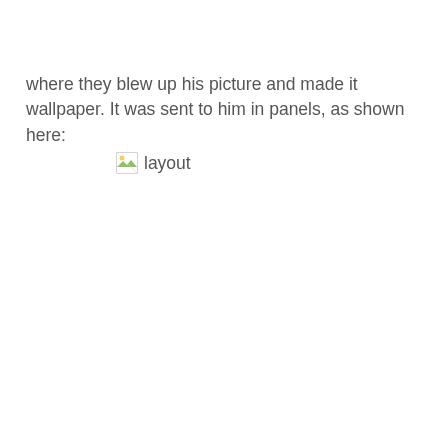where they blew up his picture and made it wallpaper. It was sent to him in panels, as shown here:
[Figure (other): Broken image placeholder with alt text 'layout']